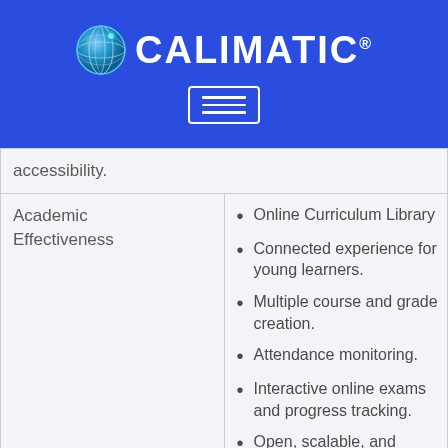[Figure (logo): Calimatic logo with globe icon and CALIMATIC text in white on blue background, with hamburger menu button below]
|  | accessibility. |
| Academic Effectiveness | Online Curriculum Library
Connected experience for young learners.
Multiple course and grade creation.
Attendance monitoring.
Interactive online exams and progress tracking.
Open, scalable, and integrated platform.
Easy student data transfers. |